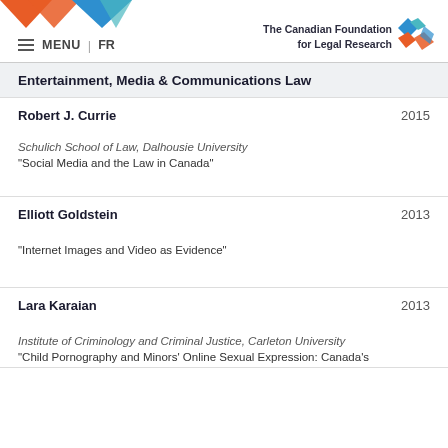MENU | FR — The Canadian Foundation for Legal Research
Entertainment, Media & Communications Law
Robert J. Currie
2015
Schulich School of Law, Dalhousie University
"Social Media and the Law in Canada"
Elliott Goldstein
2013
"Internet Images and Video as Evidence"
Lara Karaian
2013
Institute of Criminology and Criminal Justice, Carleton University
"Child Pornography and Minors' Online Sexual Expression: Canada's